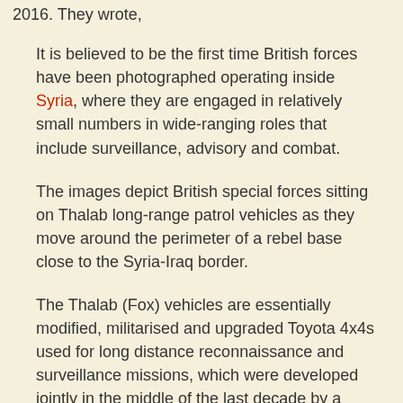2016. They wrote,
It is believed to be the first time British forces have been photographed operating inside Syria, where they are engaged in relatively small numbers in wide-ranging roles that include surveillance, advisory and combat.
The images depict British special forces sitting on Thalab long-range patrol vehicles as they move around the perimeter of a rebel base close to the Syria-Iraq border.
The Thalab (Fox) vehicles are essentially modified, militarised and upgraded Toyota 4x4s used for long distance reconnaissance and surveillance missions, which were developed jointly in the middle of the last decade by a state-backed defence company in Jordan and the UK company Jankel.
The vehicle, which has mounted weaponry and is